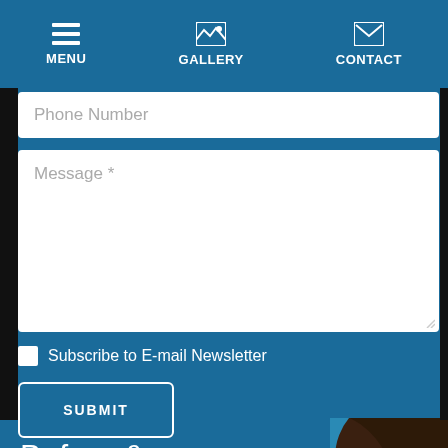MENU | GALLERY | CONTACT
Phone Number
Message *
Subscribe to E-mail Newsletter
SUBMIT
[Figure (photo): Before & After Gallery section with a woman in a yellow top as background image. Includes 'View Gallery' button and chat bubble icon.]
Before & After Gallery